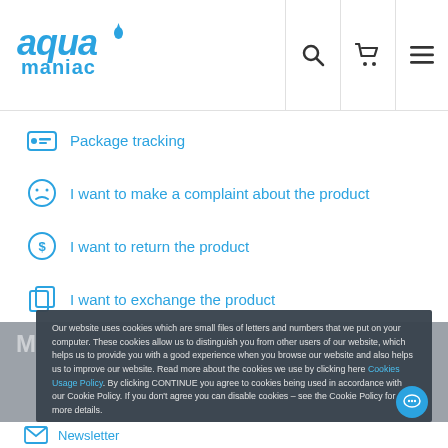[Figure (logo): Aqua Maniac logo — stylized blue text 'aqua' with water drop and 'maniac' below]
Package tracking
I want to make a complaint about the product
I want to return the product
I want to exchange the product
Our website uses cookies which are small files of letters and numbers that we put on your computer. These cookies allow us to distinguish you from other users of our website, which helps us to provide you with a good experience when you browse our website and also helps us to improve our website. Read more about the cookies we use by clicking here Cookies Usage Policy. By clicking CONTINUE you agree to cookies being used in accordance with our Cookie Policy. If you don't agree you can disable cookies – see the Cookie Policy for more details.
Newsletter